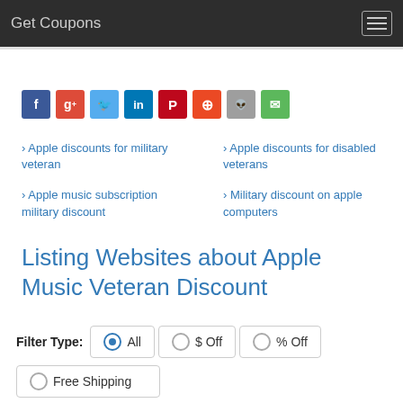Get Coupons
[Figure (other): Social media share buttons: Facebook, Google+, Twitter, LinkedIn, Pinterest, StumbleUpon, Reddit, Email]
Apple discounts for military veteran
Apple discounts for disabled veterans
Apple music subscription military discount
Military discount on apple computers
Listing Websites about Apple Music Veteran Discount
Filter Type: All  $ Off  % Off  Free Shipping